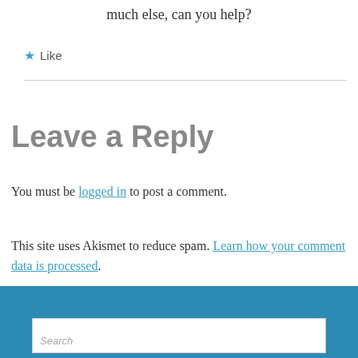much else, can you help?
★ Like
Leave a Reply
You must be logged in to post a comment.
This site uses Akismet to reduce spam. Learn how your comment data is processed.
[Figure (screenshot): Blue footer bar with a search input box at the bottom of the page]